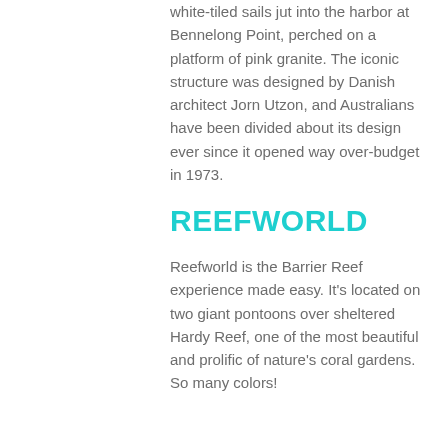white-tiled sails jut into the harbor at Bennelong Point, perched on a platform of pink granite. The iconic structure was designed by Danish architect Jorn Utzon, and Australians have been divided about its design ever since it opened way over-budget in 1973.
REEFWORLD
Reefworld is the Barrier Reef experience made easy. It's located on two giant pontoons over sheltered Hardy Reef, one of the most beautiful and prolific of nature's coral gardens. So many colors!